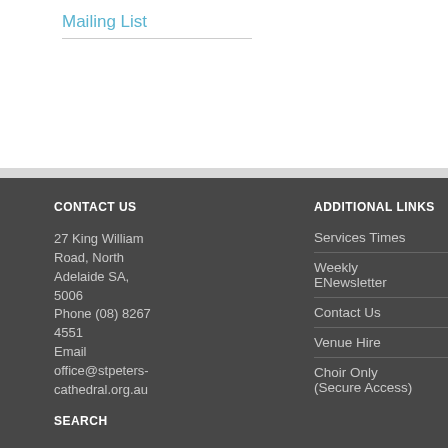Mailing List
CONTACT US
27 King William Road, North Adelaide SA, 5006
Phone (08) 8267 4551
Email office@stpeters-cathedral.org.au
ADDITIONAL LINKS
Services Times
Weekly ENewsletter
Contact Us
Venue Hire
Choir Only (Secure Access)
FACEBOOK
SEARCH